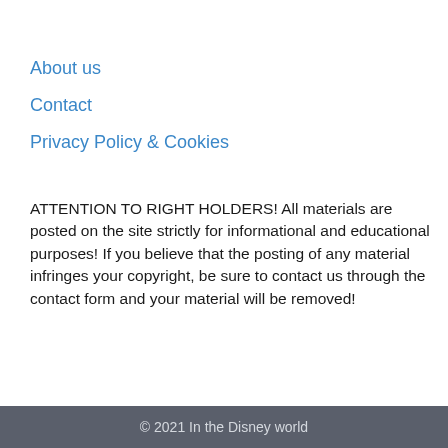About us
Contact
Privacy Policy & Cookies
ATTENTION TO RIGHT HOLDERS! All materials are posted on the site strictly for informational and educational purposes! If you believe that the posting of any material infringes your copyright, be sure to contact us through the contact form and your material will be removed!
© 2021 In the Disney world